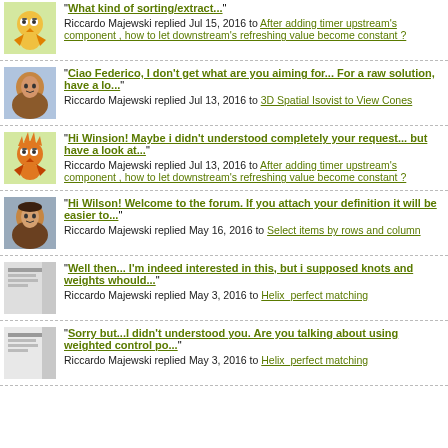"What kind of sorting/extract..." Riccardo Majewski replied Jul 15, 2016 to After adding timer upstream's component , how to let downstream's refreshing value become constant ?
"Ciao Federico, I don't get what are you aiming for... For a raw solution, have a lo..." Riccardo Majewski replied Jul 13, 2016 to 3D Spatial Isovist to View Cones
"Hi Winsion! Maybe i didn't understood completely your request... but have a look at..." Riccardo Majewski replied Jul 13, 2016 to After adding timer upstream's component , how to let downstream's refreshing value become constant ?
"Hi Wilson! Welcome to the forum. If you attach your definition it will be easier to..." Riccardo Majewski replied May 16, 2016 to Select items by rows and column
"Well then... I'm indeed interested in this, but i supposed knots and weights whould..." Riccardo Majewski replied May 3, 2016 to Helix_perfect matching
"Sorry but...I didn't understood you. Are you talking about using weighted control po..." Riccardo Majewski replied May 3, 2016 to Helix_perfect matching